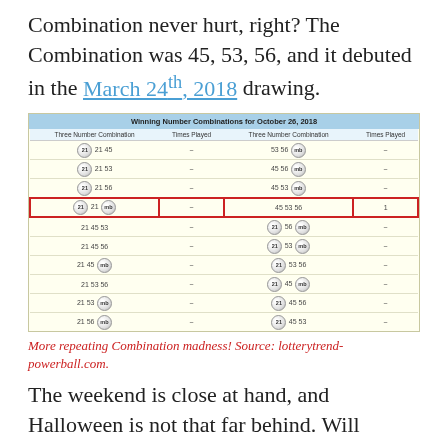Combination never hurt, right? The Combination was 45, 53, 56, and it debuted in the March 24th, 2018 drawing.
| Three Number Combination | Times Played | Three Number Combination | Times Played |
| --- | --- | --- | --- |
| 21 45 | ~ | 53 56 mb | ~ |
| 21 53 | ~ | 45 56 mb | ~ |
| 21 56 | ~ | 45 53 mb | ~ |
| 21 mb (highlighted) | ~ | 45 53 56 | 1 |
| 21 45 53 | ~ | 56 mb | ~ |
| 21 45 56 | ~ | 53 mb | ~ |
| 21 45 mb | ~ | 53 56 | ~ |
| 21 53 56 | ~ | 45 mb | ~ |
| 21 53 mb | ~ | 45 56 | ~ |
| 21 56 mb | ~ | 45 53 | ~ |
More repeating Combination madness! Source: lotterytrend-powerball.com.
The weekend is close at hand, and Halloween is not that far behind. Will Powerball amass more